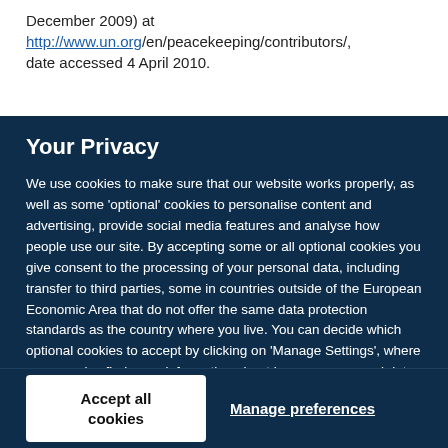December 2009) at http://www.un.org/en/peacekeeping/contributors/, date accessed 4 April 2010.
Your Privacy
We use cookies to make sure that our website works properly, as well as some ‘optional’ cookies to personalise content and advertising, provide social media features and analyse how people use our site. By accepting some or all optional cookies you give consent to the processing of your personal data, including transfer to third parties, some in countries outside of the European Economic Area that do not offer the same data protection standards as the country where you live. You can decide which optional cookies to accept by clicking on ‘Manage Settings’, where you can also find more information about how your personal data is processed. Further information can be found in our privacy policy.
Accept all cookies
Manage preferences